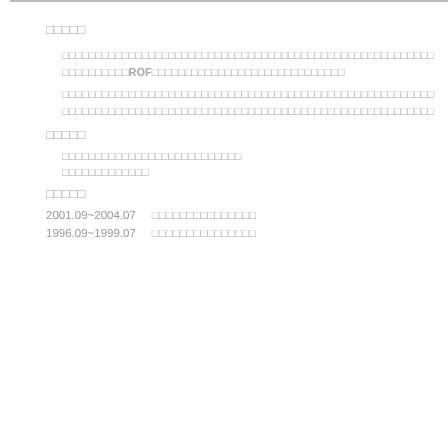□□□□□
□□□□□□□□□□□□□□□□□□□□□□□□□□□□□□□□□□□□□□□□□□□□□□□□□□□□□□□□□□□□□□□□□□ROF□□□□□□□□□□□□□□□□□□□□□□□□□□□□□
□□□□□□□□□□□□□□□□□□□□□□□□□□□□□□□□□□□□□□□□□□□□□□□□□□□□□□□□□□□□□□□□□□□□□□□□□□□□□□□□□□□□□□□□□□□□□□□□□□□□□□□□□□□□□□□□
□□□□□
□□□□□□□□□□□□□□□□□□□□□□□□□□□
□□□□□□□□□□□□□
□□□□□
2001.09~2004.07   □□□□□□□□□□□□□□□
1996.09~1999.07   □□□□□□□□□□□□□□□